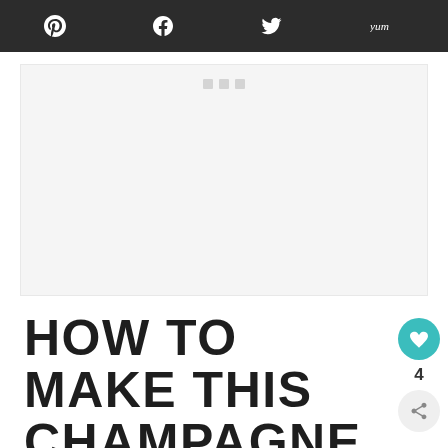Social share bar with Pinterest, Facebook, Twitter, Yummly icons
[Figure (other): Advertisement placeholder area with three small grey squares at top]
HOW TO MAKE THIS CHAMPAGNE & GRAPEFRUIT JUICE